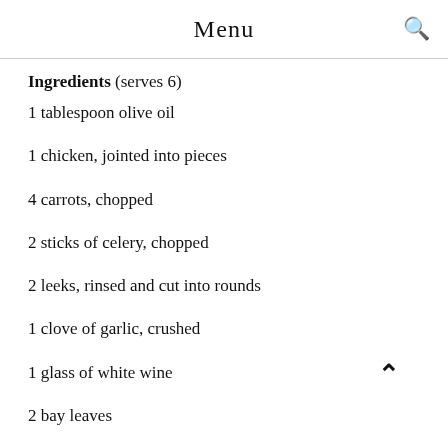Menu
Ingredients (serves 6)
1 tablespoon olive oil
1 chicken, jointed into pieces
4 carrots, chopped
2 sticks of celery, chopped
2 leeks, rinsed and cut into rounds
1 clove of garlic, crushed
1 glass of white wine
2 bay leaves